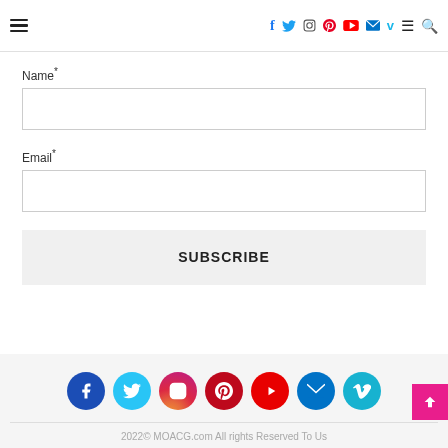Navigation header with social icons: facebook, twitter, instagram, pinterest, youtube, email, vimeo, menu, search
Name*
Email*
SUBSCRIBE
Social icons footer with facebook, twitter, instagram, pinterest, youtube, email, vimeo. 2022© MOACG.com All rights Reserved To Us